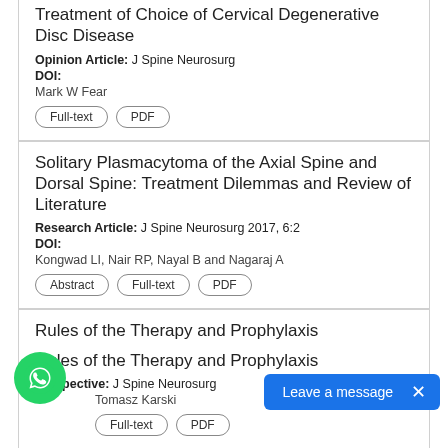Treatment of Choice of Cervical Degenerative Disc Disease
Opinion Article: J Spine Neurosurg
DOI:
Mark W Fear
Full-text  PDF
Solitary Plasmacytoma of the Axial Spine and Dorsal Spine: Treatment Dilemmas and Review of Literature
Research Article: J Spine Neurosurg 2017, 6:2
DOI:
Kongwad LI, Nair RP, Nayal B and Nagaraj A
Abstract  Full-text  PDF
Rules of the Therapy and Prophylaxis
Perspective: J Spine Neurosurg
Tomasz Karski
Full-text  PDF